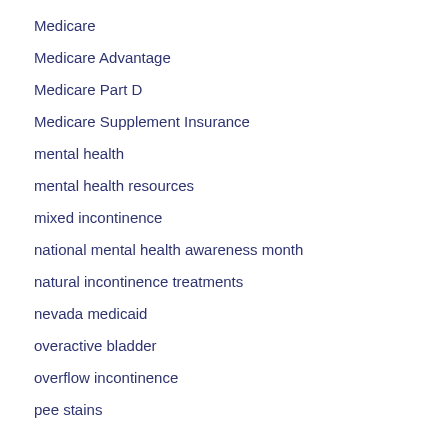Medicare
Medicare Advantage
Medicare Part D
Medicare Supplement Insurance
mental health
mental health resources
mixed incontinence
national mental health awareness month
natural incontinence treatments
nevada medicaid
overactive bladder
overflow incontinence
pee stains